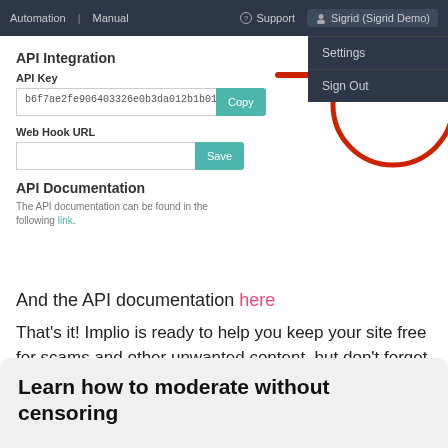Automation | Manual    Support    Sigrid (Sigrid Demo)    Settings    Sign Out
[Figure (screenshot): Screenshot of a web application settings page showing API Integration section with API Key field containing 'b6f7ae2fe906403326e0b3da012b1b016' and Copy button, Web Hook URL field with Save button, and API Documentation section with link. A red arrow and circle annotation highlights the dropdown menu showing Settings and Sign Out options.]
And the API documentation here
That's it! Implio is ready to help you keep your site free for scams and other unwanted content, but don't forget to....
Learn how to moderate without censoring